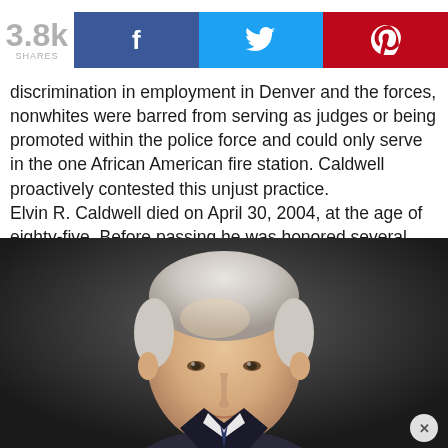3.8k SHARES [Facebook] [Twitter] [Pinterest]
discrimination in employment in Denver and the forces, nonwhites were barred from serving as judges or being promoted within the police force and could only serve in the one African American fire station. Caldwell proactively contested this unjust practice.
Elvin R. Caldwell died on April 30, 2004, at the age of eighty-five. Before passing he was honored several times, beginning in 1990, when the Denver City Council created the Elvin R. Caldwell Community Service Plaza.
[Figure (photo): Portrait painting of an elderly man with white hair, light skin, wearing a suit, depicted from the shoulders up against a dark background.]